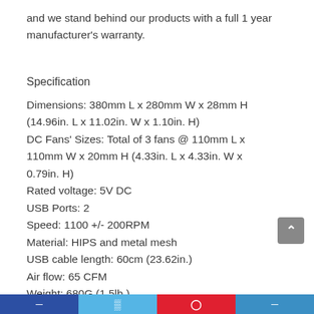and we stand behind our products with a full 1 year manufacturer's warranty.
Specification
Dimensions: 380mm L x 280mm W x 28mm H (14.96in. L x 11.02in. W x 1.10in. H)
DC Fans' Sizes: Total of 3 fans @ 110mm L x 110mm W x 20mm H (4.33in. L x 4.33in. W x 0.79in. H)
Rated voltage: 5V DC
USB Ports: 2
Speed: 1100 +/- 200RPM
Material: HIPS and metal mesh
USB cable length: 60cm (23.62in.)
Air flow: 65 CFM
Weight: 680G (1.5lb.)
Life/MTBF: 10,000 hours